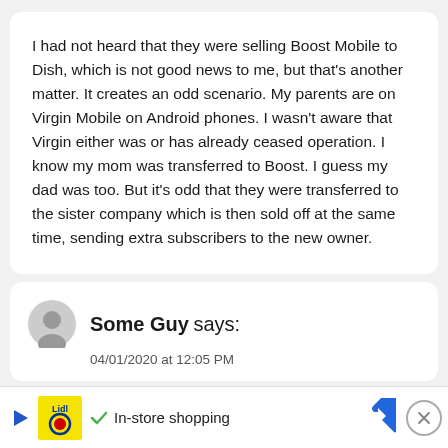I had not heard that they were selling Boost Mobile to Dish, which is not good news to me, but that's another matter. It creates an odd scenario. My parents are on Virgin Mobile on Android phones. I wasn't aware that Virgin either was or has already ceased operation. I know my mom was transferred to Boost. I guess my dad was too. But it's odd that they were transferred to the sister company which is then sold off at the same time, sending extra subscribers to the new owner.
Some Guy says: 04/01/2020 at 12:05 PM
[Figure (other): Advertisement bar at the bottom with Lidl logo, play button, checkmark, 'In-store shopping' text, navigation arrow icon, and close button]